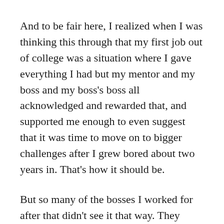And to be fair here, I realized when I was thinking this through that my first job out of college was a situation where I gave everything I had but my mentor and my boss and my boss's boss all acknowledged and rewarded that, and supported me enough to even suggest that it was time to move on to bigger challenges after I grew bored about two years in. That's how it should be.
But so many of the bosses I worked for after that didn't see it that way. They weren't monsters. At the time I liked most of them. But looking back on it now I can see all those moments, all those ways in which they took